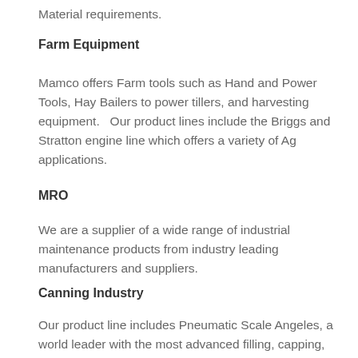Material requirements.
Farm Equipment
Mamco offers Farm tools such as Hand and Power Tools, Hay Bailers to power tillers, and harvesting equipment.   Our product lines include the Briggs and Stratton engine line which offers a variety of Ag applications.
MRO
We are a supplier of a wide range of industrial maintenance products from industry leading manufacturers and suppliers.
Canning Industry
Our product line includes Pneumatic Scale Angeles, a world leader with the most advanced filling, capping, labeling, seaming, and centrifuge technologies for the canning industry.